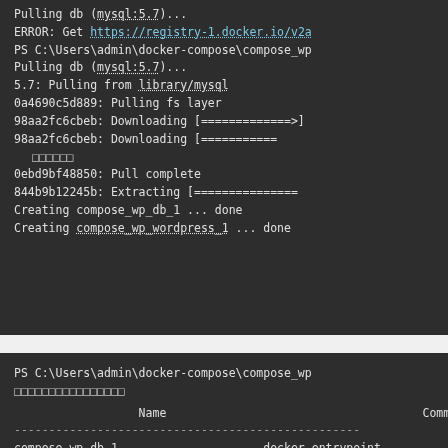[Figure (screenshot): Terminal output showing Docker pull and container creation commands. First block shows: Pulling db (mysql:5.7)..., ERROR: Get https://registry-1.docker.io/v2a, PS C:\Users\admin\docker-compose\compose_wp, Pulling db (mysql:5.7)..., 5.7: Pulling from library/mysql, 0a4690c5d889: Pulling fs layer, 98aa2fc6cbeb: Downloading [=============>], 98aa2fc6cbeb: Downloading [===========, garbled characters, 0ebd9bf48850: Pull complete, 844b9b12245b: Extracting [===============, Creating compose_wp_db_1 ... done, Creating compose_wp_wordpress_1 ... done. Second block shows: PS C:\Users\admin\docker-compose\compose_wp, garbled characters, Name column, Command column, separator line, compose_wp_db_1, docker-entrypoint.]
Pulling db (mysql:5.7)...
ERROR: Get https://registry-1.docker.io/v2a
PS C:\Users\admin\docker-compose\compose_wp
Pulling db (mysql:5.7)...
5.7: Pulling from library/mysql
0a4690c5d889: Pulling fs layer
98aa2fc6cbeb: Downloading [=============>]
98aa2fc6cbeb: Downloading [===========
[garbled]
0ebd9bf48850: Pull complete
844b9b12245b: Extracting [===============
Creating compose_wp_db_1 ... done
Creating compose_wp_wordpress_1 ... done
PS C:\Users\admin\docker-compose\compose_wp
[garbled]
Name    Command
----
compose_wp_db_1    docker-entrypoint.